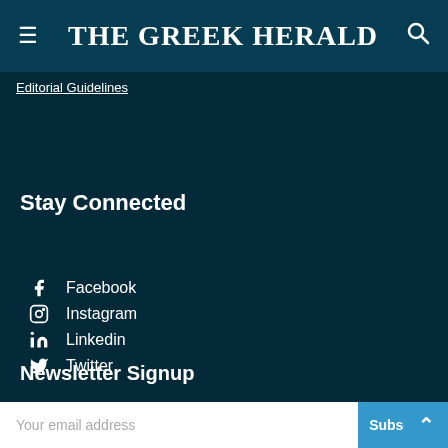THE GREEK HERALD
Editorial Guidelines
Stay Connected
Facebook
Instagram
Linkedin
Twitter
Newsletter Signup
Your email address
Subscribe